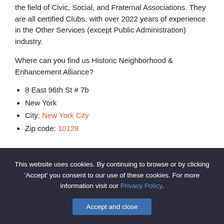the field of Civic, Social, and Fraternal Associations. They are all certified Clubs, with over 2022 years of experience in the Other Services (except Public Administration) industry.
Where can you find us Historic Neighborhood & Enhancement Alliance?
8 East 96th St # 7b
New York
City: New York City
Zip code: 10128
This website uses cookies. By continuing to browse or by clicking 'Accept' you consent to our use of these cookies. For more information visit our Privacy Policy.
Accept and close